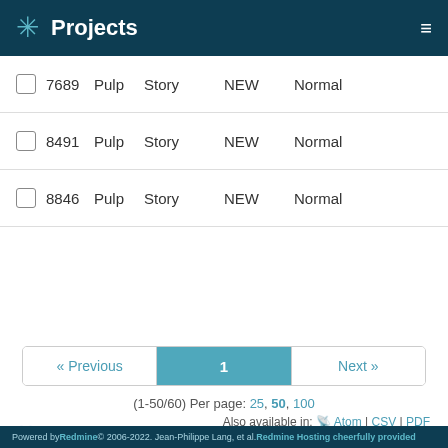Projects
|  | # | Project | Tracker | Status | Priority |
| --- | --- | --- | --- | --- | --- |
| ☐ | 7689 | Pulp | Story | NEW | Normal |
| ☐ | 8491 | Pulp | Story | NEW | Normal |
| ☐ | 8846 | Pulp | Story | NEW | Normal |
« Previous  1  Next »
(1-50/60) Per page: 25, 50, 100
Also available in: Atom | CSV | PDF
Please register to add an issue
Powered by Redmine © 2006-2022. Jean-Philippe Lang, et al. Redmine Hosting cheerfully provided